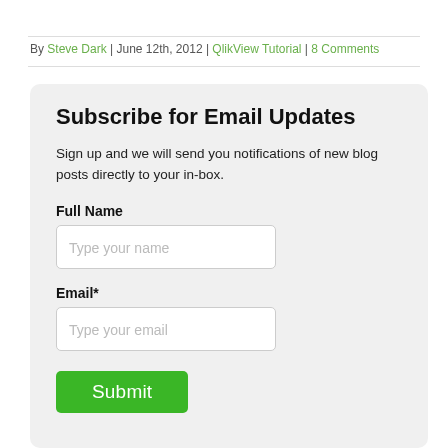By Steve Dark | June 12th, 2012 | QlikView Tutorial | 8 Comments
Subscribe for Email Updates
Sign up and we will send you notifications of new blog posts directly to your in-box.
Full Name
Type your name
Email*
Type your email
Submit